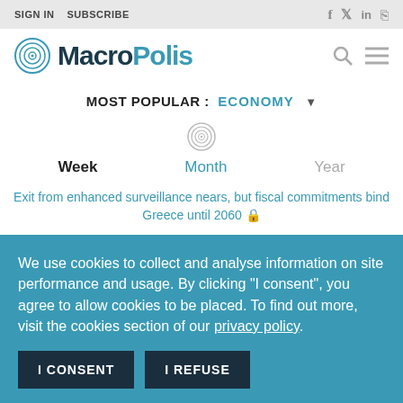SIGN IN  SUBSCRIBE
[Figure (logo): MacroPolis logo with circular maze icon]
MOST POPULAR : ECONOMY
[Figure (logo): Small MacroPolis circular icon]
Week   Month   Year
Exit from enhanced surveillance nears, but fiscal commitments bind Greece until 2060 🔒
We use cookies to collect and analyse information on site performance and usage. By clicking "I consent", you agree to allow cookies to be placed. To find out more, visit the cookies section of our privacy policy.
I CONSENT   I REFUSE